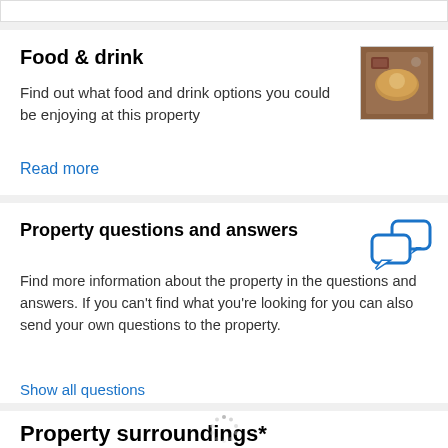Food & drink
Find out what food and drink options you could be enjoying at this property
Read more
[Figure (photo): Photo of food and drink served at property - table setting with dishes]
Property questions and answers
Find more information about the property in the questions and answers. If you can't find what you're looking for you can also send your own questions to the property.
Show all questions
[Figure (illustration): Two speech bubble chat icons in blue outline style]
Property surroundings*
Excellent location  Guests loved walking around the neighbourhood!